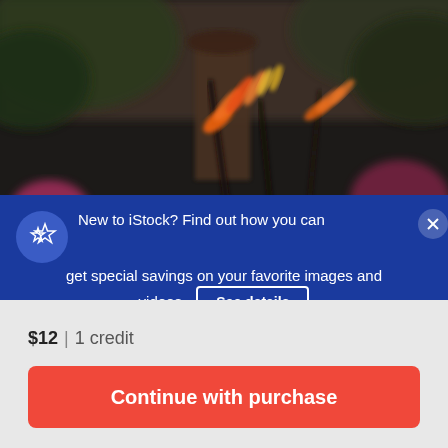[Figure (photo): Blurred outdoor garden photo with bird-of-paradise flowers in orange and yellow, dark foliage background, with a blue promotional banner overlay reading 'New to iStock? Find out how you can get special savings on your favorite images and videos. See details']
$12 | 1 credit
Continue with purchase